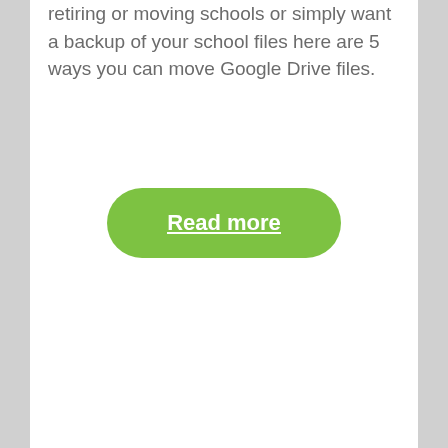retiring or moving schools or simply want a backup of your school files here are 5 ways you can move Google Drive files.
Read more